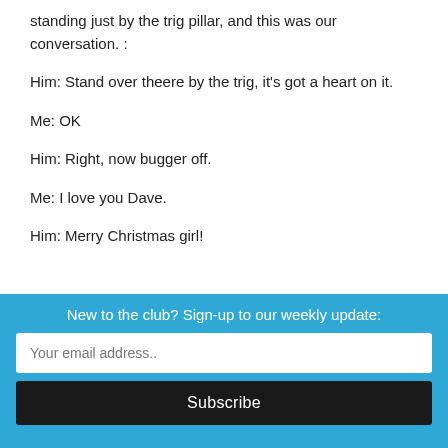standing just by the trig pillar, and this was our conversation. :
Him: Stand over theere by the trig, it's got a heart on it.
Me: OK
Him: Right, now bugger off.
Me: I love you Dave.
Him: Merry Christmas girl!
[Figure (photo): Person wearing a Santa hat, partially visible at bottom of image area with light blue/grey gradient background]
New to the club? Sign-up to our weekly update:
Your email address..
Subscribe